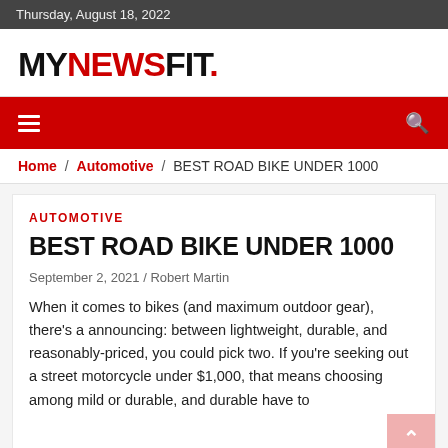Thursday, August 18, 2022
MYNEWSFIT.
≡  🔍
Home / Automotive / BEST ROAD BIKE UNDER 1000
AUTOMOTIVE
BEST ROAD BIKE UNDER 1000
September 2, 2021 / Robert Martin
When it comes to bikes (and maximum outdoor gear), there's a announcing: between lightweight, durable, and reasonably-priced, you could pick two. If you're seeking out a street motorcycle under $1,000, that means choosing among mild or durable, and durable have to